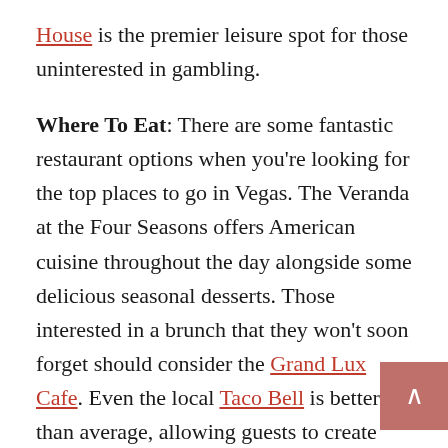House is the premier leisure spot for those uninterested in gambling.
Where To Eat: There are some fantastic restaurant options when you're looking for the top places to go in Vegas. The Veranda at the Four Seasons offers American cuisine throughout the day alongside some delicious seasonal desserts. Those interested in a brunch that they won't soon forget should consider the Grand Lux Cafe. Even the local Taco Bell is better than average, allowing guests to create alcoholic soft drinks and indulge in luxury tacos.
What To Do: With so much to do throughout Las Vegas, you may find yourself a bit overwhelmed.